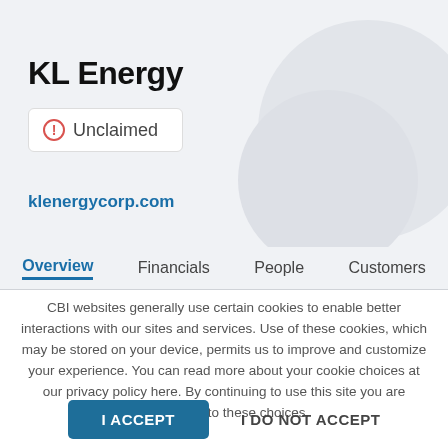KL Energy
⊙ Unclaimed
klenergycorp.com
Overview   Financials   People   Customers
CBI websites generally use certain cookies to enable better interactions with our sites and services. Use of these cookies, which may be stored on your device, permits us to improve and customize your experience. You can read more about your cookie choices at our privacy policy here. By continuing to use this site you are consenting to these choices.
I ACCEPT
I DO NOT ACCEPT